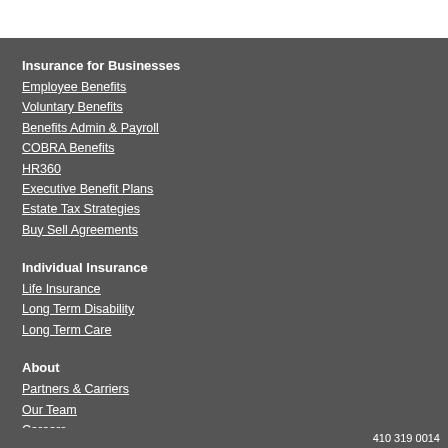Insurance for Businesses
Employee Benefits
Voluntary Benefits
Benefits Admin & Payroll
COBRA Benefits
HR360
Executive Benefit Plans
Estate Tax Strategies
Buy Sell Agreements
Individual Insurance
Life Insurance
Long Term Disability
Long Term Care
About
Partners & Carriers
Our Team
Careers
Blog
Contact Us
Testimonials
410 319 0014